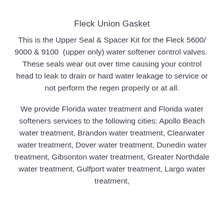Fleck Union Gasket
This is the Upper Seal & Spacer Kit for the Fleck 5600/ 9000 & 9100  (upper only) water softener control valves.  These seals wear out over time causing your control head to leak to drain or hard water leakage to service or not perform the regen properly or at all.
We provide Florida water treatment and Florida water softeners services to the following cities: Apollo Beach water treatment, Brandon water treatment, Clearwater water treatment, Dover water treatment, Dunedin water treatment, Gibsonton water treatment, Greater Northdale water treatment, Gulfport water treatment, Largo water treatment,